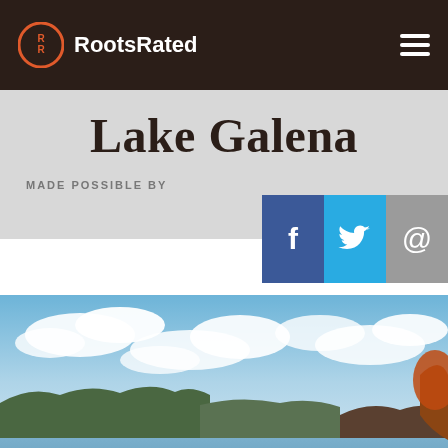RootsRated
Lake Galena
MADE POSSIBLE BY
[Figure (photo): Social share buttons: Facebook (f), Twitter (bird icon), Email (@)]
[Figure (photo): Photograph of Lake Galena showing calm lake water with ducks, surrounded by trees and hills, under a partly cloudy blue sky.]